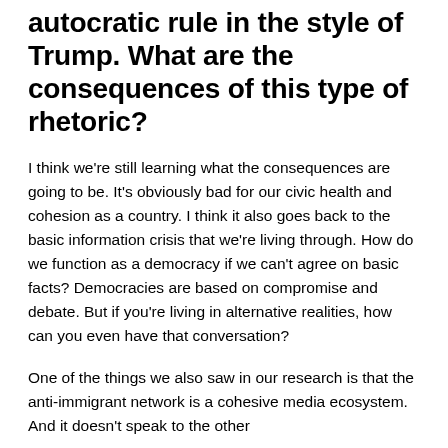autocratic rule in the style of Trump. What are the consequences of this type of rhetoric?
I think we're still learning what the consequences are going to be. It's obviously bad for our civic health and cohesion as a country. I think it also goes back to the basic information crisis that we're living through. How do we function as a democracy if we can't agree on basic facts? Democracies are based on compromise and debate. But if you're living in alternative realities, how can you even have that conversation?
One of the things we also saw in our research is that the anti-immigrant network is a cohesive media ecosystem. And it doesn't speak to the other